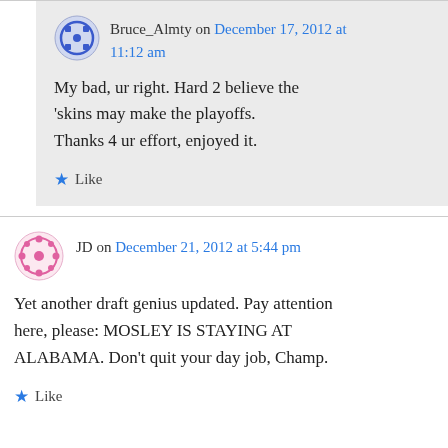Bruce_Almty on December 17, 2012 at 11:12 am
My bad, ur right. Hard 2 believe the ‘skins may make the playoffs. Thanks 4 ur effort, enjoyed it.
Like
JD on December 21, 2012 at 5:44 pm
Yet another draft genius updated. Pay attention here, please: MOSLEY IS STAYING AT ALABAMA. Don’t quit your day job, Champ.
Like